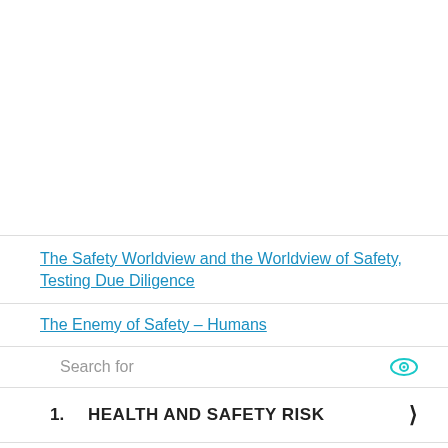The Safety Worldview and the Worldview of Safety, Testing Due Diligence
The Enemy of Safety – Humans
Search for
1. HEALTH AND SAFETY RISK
2. HEALTH AND SAFETY PLAN